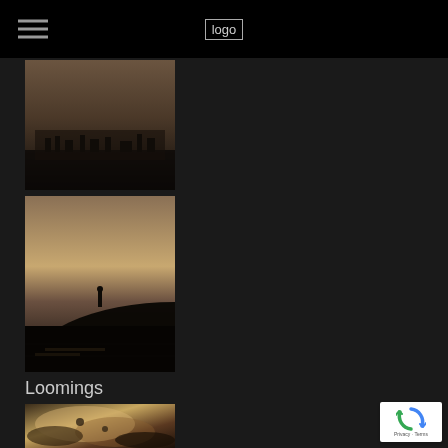logo [hamburger menu icon]
[Figure (photo): Dark moody landscape photograph with dark foreground and hazy brownish sky, possibly a distant treeline or cityscape silhouette]
[Figure (photo): Dark atmospheric photograph with a lone figure or object on a dark landscape, pale cloudy sky above and dark ground below]
Loomings
[Figure (photo): Dark sepia-toned abstract photograph with organic textures, possibly a reclining figure or natural forms]